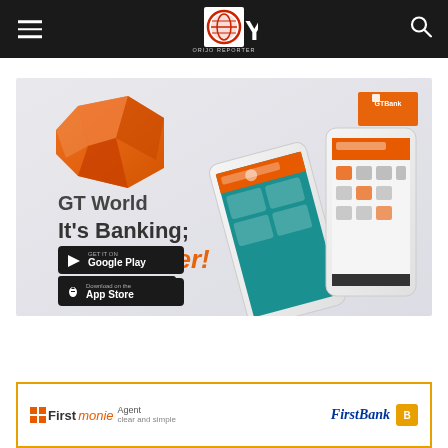Orijo Reporter – navigation header with hamburger menu, logo, and search icon
[Figure (illustration): GTBank GTWorld mobile banking app advertisement. Features an orange 3D geometric logo, text 'GT World – It's Banking; Only Easier!', smartphone mockups showing the app interface, Google Play and App Store download buttons, and GTBank logo in top right corner. Light grey/blue background.]
[Figure (illustration): FirstBank Firstmonie Agent advertisement. Yellow/gold border. Firstmonie Agent logo on left, FirstBank logo on right. Tagline 'clear and simple'.]